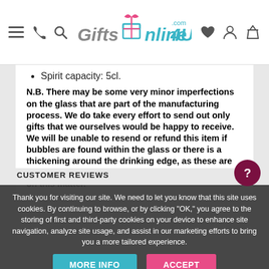GiftsOnline4U.com navigation bar with menu, phone, search icons and wishlist, account, basket icons
Spirit capacity: 5cl.
N.B. There may be some very minor imperfections on the glass that are part of the manufacturing process. We do take every effort to send out only gifts that we ourselves would be happy to receive.  We will be unable to resend or refund this item if bubbles are found within the glass or there is a thickening around the drinking edge, as these are to be expected. We appreciate your understanding on this matter.
Thank you for visiting our site. We need to let you know that this site uses cookies. By continuing to browse, or by clicking "OK," you agree to the storing of first and third-party cookies on your device to enhance site navigation, analyze site usage, and assist in our marketing efforts to bring you a more tailored experience.
MORE INFO
ACCEPT
CUSTOMER REVIEWS